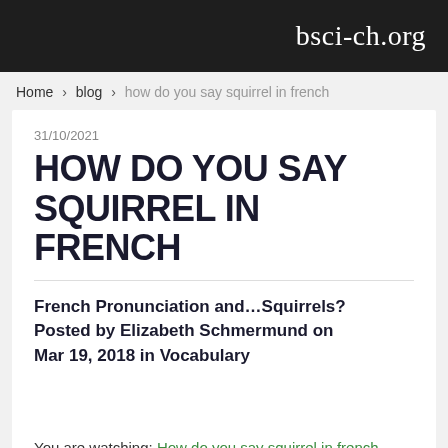bsci-ch.org
Home › blog › how do you say squirrel in french
31/10/2021
HOW DO YOU SAY SQUIRREL IN FRENCH
French Pronunciation and…Squirrels? Posted by Elizabeth Schmermund on Mar 19, 2018 in Vocabulary
You are watching: How do you say squirrel in french